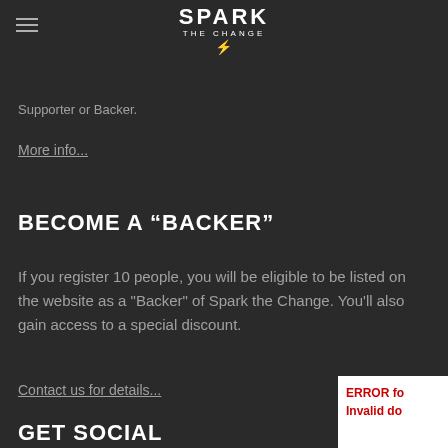[Figure (logo): Spark the Change logo with lightning bolt, centered at top]
Supporter or Backer.
More info...
BECOME A "BACKER"
If you register 10 people, you will be eligible to be listed on the website as a "Backer" of Spark the Change. You'll also gain access to a special discount.
Contact us for details...
GET SOCIAL